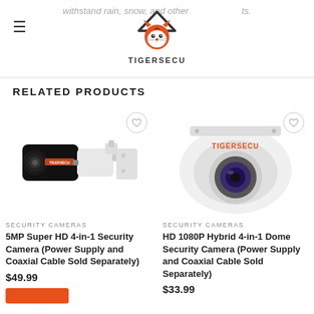withstand rain, snow, and other elements. TIGERSECU
RELATED PRODUCTS
[Figure (photo): TIGERSECU 5MP Super HD bullet security camera, white body with black lens housing, shown with wall mount bracket]
SECURITY CAMERAS
5MP Super HD 4-in-1 Security Camera (Power Supply and Coaxial Cable Sold Separately)
$49.99
[Figure (photo): TIGERSECU HD 1080P dome security camera, white rounded dome shape with TIGERSECU branding in orange, showing lens]
SECURITY CAMERAS
HD 1080P Hybrid 4-in-1 Dome Security Camera (Power Supply and Coaxial Cable Sold Separately)
$33.99